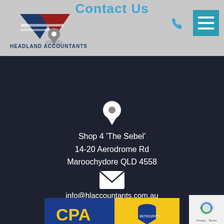Contact Us
[Figure (logo): Headland Accountants Pty Ltd logo with red and blue geometric shapes]
Shop 4 'The Sebel'
14-20 Aerodrome Rd
Maroochydore QLD 4558
info@hlaccountants.com.au
(07) 5315 5281
© 2011-2020 Headland Accountants
[Figure (logo): CPA Australia logo (blue and yellow) alongside Institute logo]